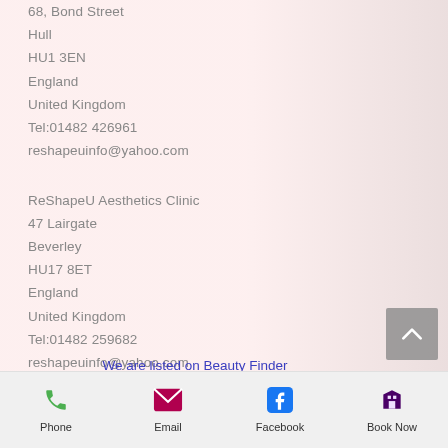68, Bond Street
Hull
HU1 3EN
England
United Kingdom
Tel:01482 426961
reshapeuinfo@yahoo.com
ReShapeU Aesthetics Clinic
47 Lairgate
Beverley
HU17 8ET
England
United Kingdom
Tel:01482 259682
reshapeuinfo@yahoo.com
We are listed on Beauty Finder
Phone
Email
Facebook
Book Now